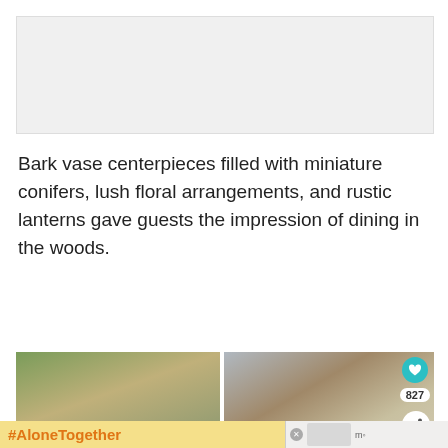[Figure (photo): Light gray placeholder image box at the top of the page]
Bark vase centerpieces filled with miniature conifers, lush floral arrangements, and rustic lanterns gave guests the impression of dining in the woods.
[Figure (photo): Left: A rustic outdoor dining table set with floral centerpieces, mason jars, and plates. Right: Close-up of mason jars and a silver candle holder on a table, with a red checkered napkin and plate visible below. Social icons (heart, 827 count, share) overlaid on right photo.]
[Figure (infographic): Ad banner at bottom: yellow background with orange bold text '#AloneTogether', and a small image of a woman cooking on the right side with an X close button and a logo.]